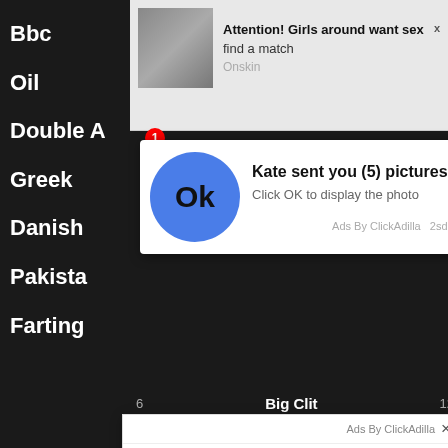Bbc
Oil
Double A
Greek
Danish
Pakista
Farting
[Figure (screenshot): Top ad popup: 'Attention! Girls around want sex' with 'find a match' text, female photo thumbnail, notification overlay 'Kate sent you (5) pictures - Click OK to display the photo' with large blue OK circle button, 'Ads By ClickAdilla 2sd' label]
[Figure (screenshot): Bottom ad popup: 'Kate sent you (5) pictures', 'Click OK to display the photo', small blue OK circle top-right, large blue OK circle center, 'Ads By ClickAdilla' label with X close button, 'a1h' bottom-right]